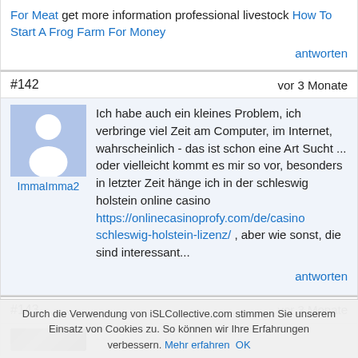For Meat get more information professional livestock How To Start A Frog Farm For Money
antworten
#142   vor 3 Monate
[Figure (illustration): Default user avatar placeholder icon (silhouette of person on blue background) with username ImmaImma2 below]
Ich habe auch ein kleines Problem, ich verbringe viel Zeit am Computer, im Internet, wahrscheinlich - das ist schon eine Art Sucht ... oder vielleicht kommt es mir so vor, besonders in letzter Zeit hänge ich in der schleswig holstein online casino https://onlinecasinoprofy.com/de/casino-schleswig-holstein-lizenz/ , aber wie sonst, die sind interessant...
antworten
#143   vor 3 Monate
Durch die Verwendung von iSLCollective.com stimmen Sie unserem Einsatz von Cookies zu. So können wir Ihre Erfahrungen verbessern. Mehr erfahren   OK